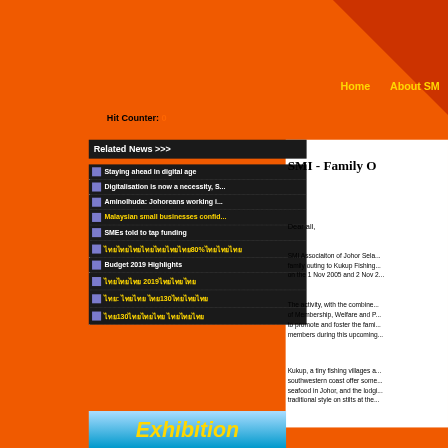Home   About SMI
Hit Counter: 0
Related News >>>
Staying ahead in digital age
Digitalisation is now a necessity, S...
Aminolhuda: Johoreans working i...
Malaysian small businesses confid...
SMEs told to tap funding
ไทย80%ไทย
Budget 2019 Highlights
ไทย 2019ไทย
ไทย: ไทย ไทย130ไทย
ไทย130ไทย ไทย
SMI - Family O
Dear all,
SMI Associaiton of Johor Sela... family outing to Kukup Fishing... on the 1 Nov 2005 and 2 Nov 2...
The activity, with the combine... of Membership, Welfare and P... to promote and foster the fami... members during this upcoming...
Kukup, a tiny fishing villages a... southwestern coast offer some... seafood in Johor, and the lodgi... traditional style on stilts at the...
[Figure (illustration): Exhibition banner with yellow bold italic text on blue background]